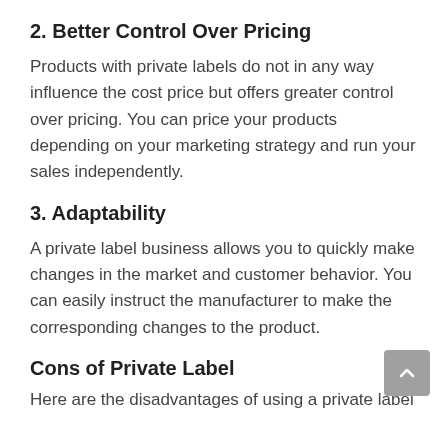2. Better Control Over Pricing
Products with private labels do not in any way influence the cost price but offers greater control over pricing. You can price your products depending on your marketing strategy and run your sales independently.
3. Adaptability
A private label business allows you to quickly make changes in the market and customer behavior. You can easily instruct the manufacturer to make the corresponding changes to the product.
Cons of Private Label
Here are the disadvantages of using a private label